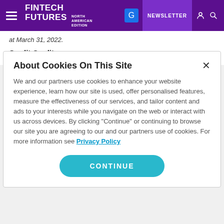FINTECH FUTURES NORTH AMERICAN EDITION | NEWSLETTER
at March 31, 2022.
Credit Quality
About Cookies On This Site
We and our partners use cookies to enhance your website experience, learn how our site is used, offer personalised features, measure the effectiveness of our services, and tailor content and ads to your interests while you navigate on the web or interact with us across devices. By clicking "Continue" or continuing to browse our site you are agreeing to our and our partners use of cookies. For more information see Privacy Policy
CONTINUE